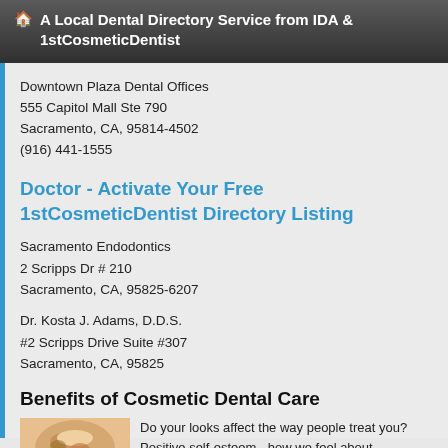🏠 A Local Dental Directory Service from IDA & 1stCosmeticDentist
Downtown Plaza Dental Offices
555 Capitol Mall Ste 790
Sacramento, CA, 95814-4502
(916) 441-1555
Doctor - Activate Your Free 1stCosmeticDentist Directory Listing
Sacramento Endodontics
2 Scripps Dr # 210
Sacramento, CA, 95825-6207
Dr. Kosta J. Adams, D.D.S.
#2 Scripps Drive Suite #307
Sacramento, CA, 95825
Benefits of Cosmetic Dental Care
Do your looks affect the way people treat you? Positive self-esteem - how we feel about